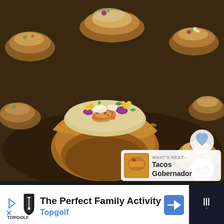[Figure (photo): Close-up photo of small crispy wonton cups filled with colorful fish taco toppings including shrimp or white fish, purple cabbage, corn, and diced vegetables arranged on a dark tray. Multiple cups visible in background. UI overlay shows a heart/like button with count of 1, a share button, and a 'What's Next' card showing Tacos Gobernador.]
WHAT'S NEXT →
Tacos
Gobernador
[Figure (infographic): Advertisement bar: The Perfect Family Activity - Topgolf, with Topgolf shield logo, blue play arrow, navigation arrow icon in blue diamond shape, and dark right panel with Wi-Fi/signal icon.]